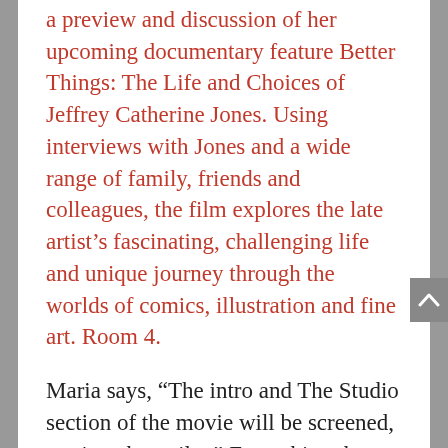a preview and discussion of her upcoming documentary feature Better Things: The Life and Choices of Jeffrey Catherine Jones. Using interviews with Jones and a wide range of family, friends and colleagues, the film explores the late artist's fascinating, challenging life and unique journey through the worlds of comics, illustration and fine art. Room 4.
Maria says, “The intro and The Studio section of the movie will be screened, not just the trailer.” Everything that I’ve seen thus far of the film is thoughtful, frank, and compelling—this isn’t going to be a sugar-coated PR production, but rather an honest look at a complex and conflicted artist. And it should be noted that Maria has been working heroically on this project